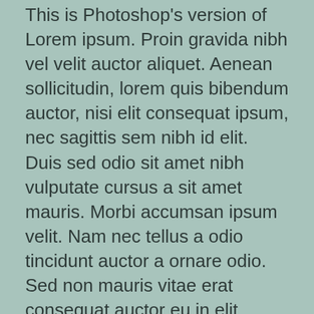This is Photoshop's version of Lorem ipsum. Proin gravida nibh vel velit auctor aliquet. Aenean sollicitudin, lorem quis bibendum auctor, nisi elit consequat ipsum, nec sagittis sem nibh id elit.
Duis sed odio sit amet nibh vulputate cursus a sit amet mauris. Morbi accumsan ipsum velit. Nam nec tellus a odio tincidunt auctor a ornare odio. Sed non mauris vitae erat consequat auctor eu in elit.
[/column]
If you are going to use a passage of Lorem Ipsum, you need to be sure there isn't anything